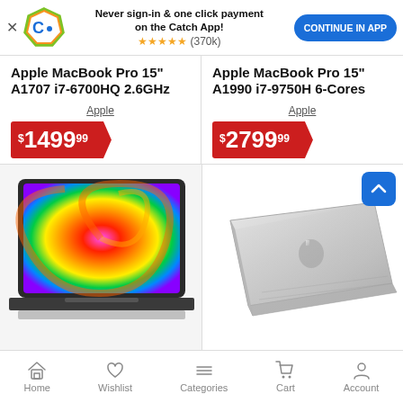[Figure (screenshot): Catch app banner with logo, text 'Never sign-in & one click payment on the Catch App!', star rating (370k), and 'CONTINUE IN APP' button]
Apple MacBook Pro 15" A1707 i7-6700HQ 2.6GHz
Apple
$1499.99
Apple MacBook Pro 15" A1990 i7-9750H 6-Cores
Apple
$2799.99
[Figure (photo): MacBook Pro with colorful swirl wallpaper on display]
[Figure (photo): Silver MacBook closed, viewed from above at angle]
Home  Wishlist  Categories  Cart  Account